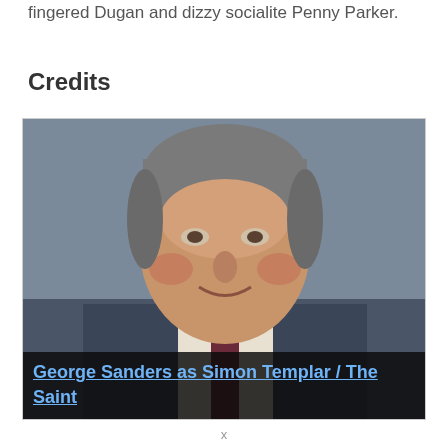fingered Dugan and dizzy socialite Penny Parker.
Credits
[Figure (photo): Portrait photo of an older man in a suit with a tie, smiling. Caption reads: George Sanders as Simon Templar / The Saint]
George Sanders as Simon Templar / The Saint
x